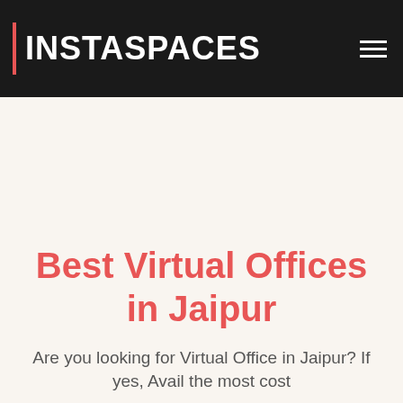INSTASPACES
Best Virtual Offices in Jaipur
Are you looking for Virtual Office in Jaipur? If yes, Avail the most cost